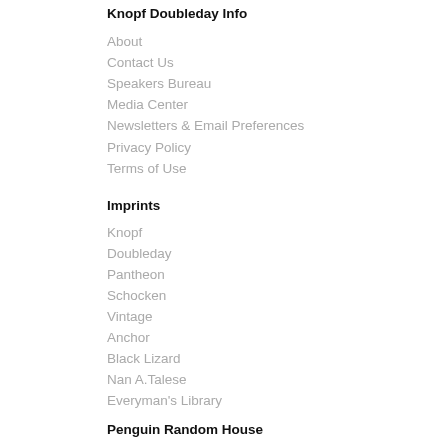Knopf Doubleday Info
About
Contact Us
Speakers Bureau
Media Center
Newsletters & Email Preferences
Privacy Policy
Terms of Use
Imprints
Knopf
Doubleday
Pantheon
Schocken
Vintage
Anchor
Black Lizard
Nan A.Talese
Everyman's Library
Penguin Random House
News
Careers
Contact Us